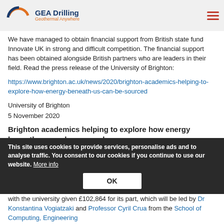GEA Drilling – Geothermal Anywhere
We have managed to obtain financial support from British state fund Innovate UK in strong and difficult competition. The financial support has been obtained alongside British partners who are leaders in their field. Read the press release of the University of Brighton:
https://www.brighton.ac.uk/news/2020/brighton-academics-helping-to-explore-how-energy-beneath-us-can-be-sourced
University of Brighton
5 November 2020
Brighton academics helping to explore how energy beneath us can be sourced
University of Brighton researchers have received funding from Innovate UK to test how next-generation drills can help source sustainable geothermal energy – which could one day replace fossil fuels.
This site uses cookies to provide services, personalise ads and to analyse traffic. You consent to our cookies if you continue to use our website. More info  OK
Working with industry partner Well Engineering Partners Analysis, £417,500 has been awarded from The Sustainable Innovation Fund, with the university given £102,864 for its part, which will be led by Dr Konstantina Vogiatzaki and Professor Cyril Crua from the School of Computing, Engineering